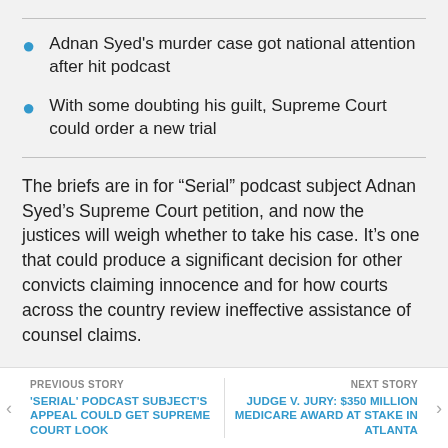Adnan Syed's murder case got national attention after hit podcast
With some doubting his guilt, Supreme Court could order a new trial
The briefs are in for “Serial” podcast subject Adnan Syed’s Supreme Court petition, and now the justices will weigh whether to take his case. It’s one that could produce a significant decision for other convicts claiming innocence and for how courts across the country review ineffective assistance of counsel claims.
Though the 2014 hit podcast raised questions about Syed’s guilt, his appeal aims at a more discrete legal
PREVIOUS STORY | 'SERIAL' PODCAST SUBJECT'S APPEAL COULD GET SUPREME COURT LOOK || NEXT STORY | JUDGE V. JURY: $350 MILLION MEDICARE AWARD AT STAKE IN ATLANTA